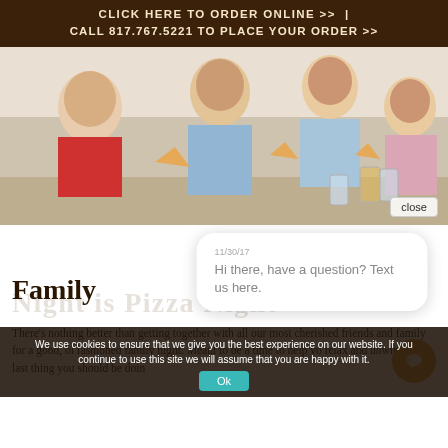CLICK HERE TO ORDER ONLINE >> | CALL 817.767.5221 TO PLACE YOUR ORDER >>
[Figure (photo): Family of four (man, woman, boy in red shirt, girl) eating pizza together, smiling, with a 'close' button overlay in bottom right]
Hi there, have a question? Text us here.
Family Night is Pizza Night
There's nothing better than getting together with all our most cherished friends and family for a good, old fashioned family night. Meant to be a time to help you relax and unwind, the last thing you should be doing on family night is stressing out about cooking dinner.
We use cookies to ensure that we give you the best experience on our website. If you continue to use this site we will assume that you are happy with it.